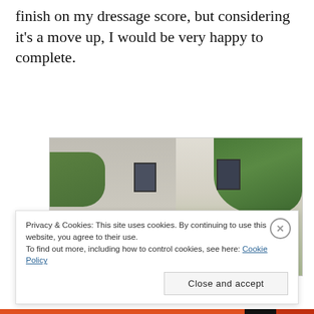finish on my dressage score, but considering it's a move up, I would be very happy to complete.
[Figure (photo): A blurred photograph of a house exterior with white/grey walls, dark windows, and green trees/foliage around it. Appears to be a residential building.]
Privacy & Cookies: This site uses cookies. By continuing to use this website, you agree to their use.
To find out more, including how to control cookies, see here: Cookie Policy